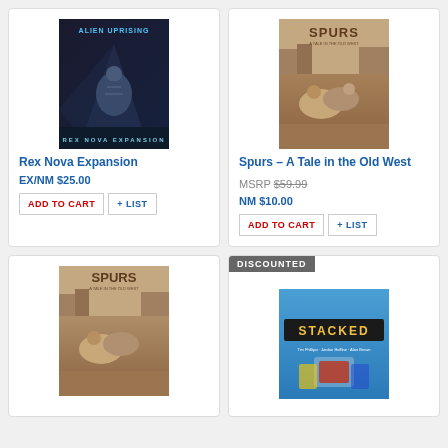[Figure (photo): Alien Uprising: Rex Nova Expansion board game box cover showing a sci-fi soldier]
Rex Nova Expansion
EX/NM $25.00
ADD TO CART
+ LIST
[Figure (photo): Spurs - A Tale in the Old West board game box cover showing a western brawl scene]
Spurs – A Tale in the Old West
MSRP $59.99
NM $10.00
ADD TO CART
+ LIST
[Figure (photo): Spurs - A Tale in the Old West board game partial image, bottom card]
DISCOUNTED
[Figure (photo): Stacked board game box cover, blue box, partial view]